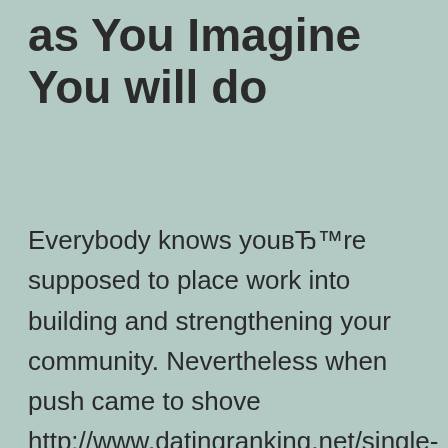as You Imagine You will do
Everybody knows youвЂ™re supposed to place work into building and strengthening your community. Nevertheless when push came to shove http://www.datingranking.net/single-parent-dating, IвЂ™d choose likely to hour that is happy buddies over fulfilling up by having a semi-stranger for coffee any time. And, after making that choice week on week, every year, the entire notion of fulfilling LinkedIn